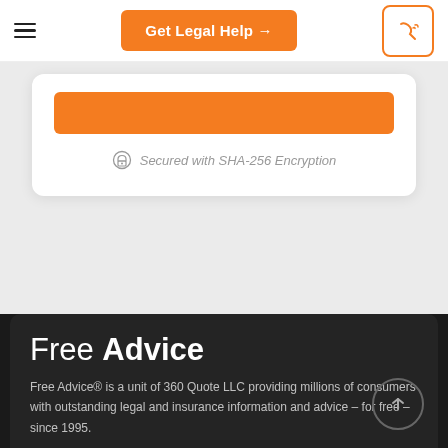Get Legal Help →
[Figure (screenshot): Orange button bar inside white card]
Secured with SHA-256 Encryption
Free Advice
Free Advice® is a unit of 360 Quote LLC providing millions of consumers with outstanding legal and insurance information and advice – for free – since 1995.
Company
About Us   Contact Us   Advertiser Disclosure
ExpertPages.com